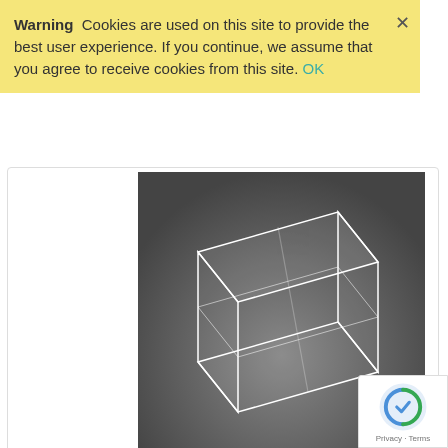Warning  Cookies are used on this site to provide the best user experience. If you continue, we assume that you agree to receive cookies from this site. OK
[Figure (photo): Transparent acrylic display cube merchandiser, 6 inch square, photographed on a dark grey background]
Display Cube Merchandiser, 6" Square, DCM-6
Price: $22.9295
[Figure (photo): Transparent acrylic display cube merchandiser, larger size, photographed on a dark grey background, partially visible]